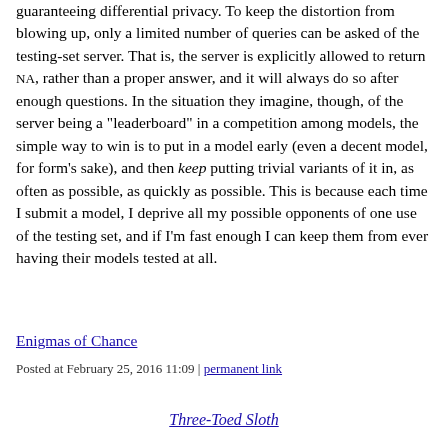guaranteeing differential privacy. To keep the distortion from blowing up, only a limited number of queries can be asked of the testing-set server. That is, the server is explicitly allowed to return NA, rather than a proper answer, and it will always do so after enough questions. In the situation they imagine, though, of the server being a "leaderboard" in a competition among models, the simple way to win is to put in a model early (even a decent model, for form's sake), and then keep putting trivial variants of it in, as often as possible, as quickly as possible. This is because each time I submit a model, I deprive all my possible opponents of one use of the testing set, and if I'm fast enough I can keep them from ever having their models tested at all.
Enigmas of Chance
Posted at February 25, 2016 11:09 | permanent link
Three-Toed Sloth